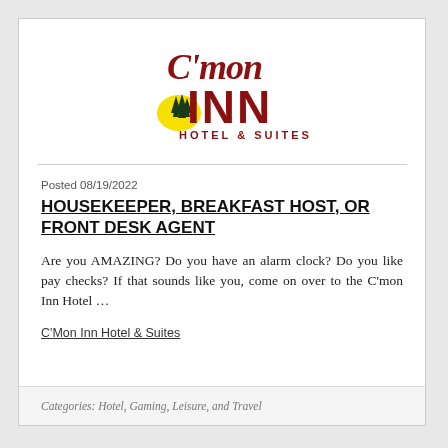[Figure (logo): C'mon Inn Hotel & Suites logo with red script text and pine trees silhouette on yellow sun]
Posted 08/19/2022
HOUSEKEEPER, BREAKFAST HOST, OR FRONT DESK AGENT
Are you AMAZING? Do you have an alarm clock? Do you like pay checks? If that sounds like you, come on over to the C'mon Inn Hotel …
C'Mon Inn Hotel & Suites
Categories: Hotel, Gaming, Leisure, and Travel